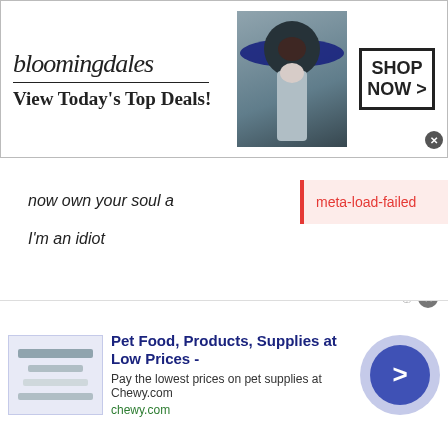[Figure (screenshot): Bloomingdales advertisement banner with logo, tagline 'View Today's Top Deals!', woman in large hat, and 'SHOP NOW >' button]
now own your soul a
I'm an idiot
meta-load-failed
[Figure (screenshot): Social interaction bar: 1 Reply button, email/facebook/twitter/google+/linkedin share icons, upvote (^) button, score 1, downvote button, menu dots]
[Figure (screenshot): User comment section: Xavier avatar, badges (GSP PATROL | THE PROOF..., MUSIC LOVERS, SPARTAN, SEEKERS, ABOOBS), timestamp Apr 19, 2020, 7:43 AM, comment starting @Niche_0 what]
[Figure (screenshot): Bottom ad: Pet Food, Products, Supplies at Low Prices - Pay the lowest prices on pet supplies at Chewy.com, chewy.com link, navigation arrow]